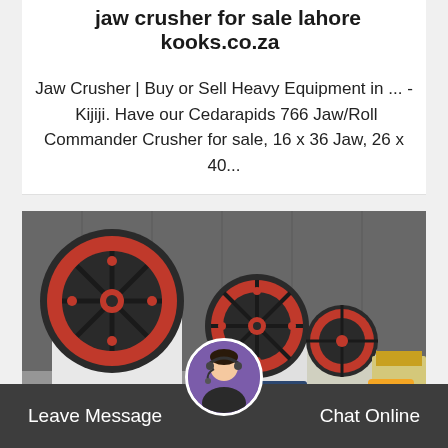jaw crusher for sale lahore kooks.co.za
Jaw Crusher | Buy or Sell Heavy Equipment in ... - Kijiji. Have our Cedarapids 766 Jaw/Roll Commander Crusher for sale, 16 x 36 Jaw, 26 x 40...
[Figure (photo): Row of industrial jaw crushers with large red and black flywheels, white and blue bodies, lined up inside a warehouse/factory building]
Leave Message
Chat Online